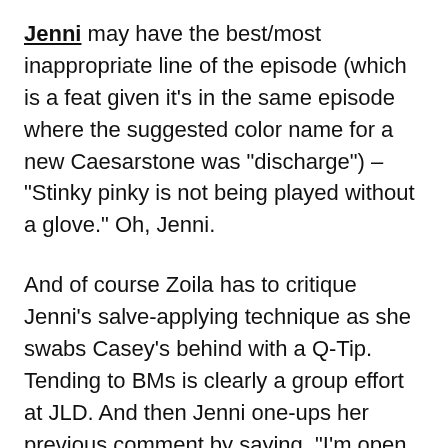Jenni may have the best/most inappropriate line of the episode (which is a feat given it's in the same episode where the suggested color name for a new Caesarstone was "discharge") – "Stinky pinky is not being played without a glove." Oh, Jenni.
And of course Zoila has to critique Jenni's salve-applying technique as she swabs Casey's behind with a Q-Tip. Tending to BMs is clearly a group effort at JLD. And then Jenni one-ups her previous comment by saying, "I'm open to any duties." Yep, she went there.
No. 1 All Fired Up